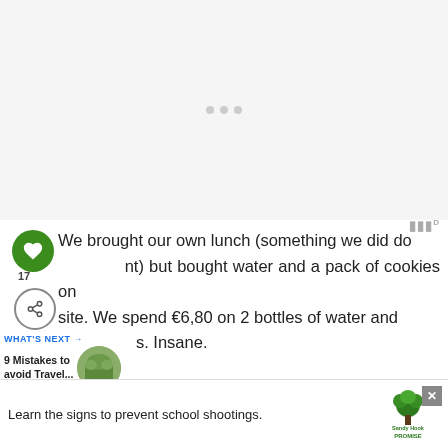[Figure (screenshot): Top white/grey area representing a webpage with loading spinner dots]
We brought our own lunch (something we did do [at] but bought water and a pack of cookies on site. We spend €6,80 on 2 bottles of water and [cookies]. Insane.
WHAT'S NEXT → 9 Mistakes to avoid Travel...
TIP: Don't buy too much in the shops as they a[re] [expen]sive [as books?] [find]